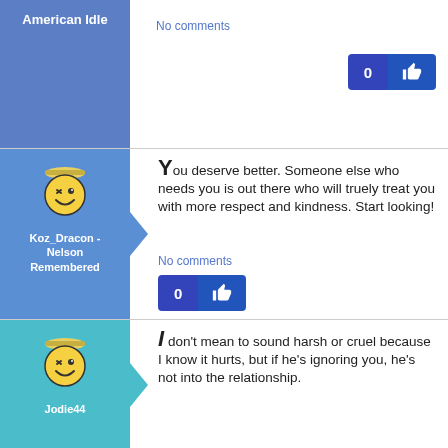American Idle
No comments
0
[Figure (illustration): Smiley face avatar with winking eye and graduation cap]
Koz_Dracon - Nelson Remembered
You deserve better. Someone else who needs you is out there who will truely treat you with more respect and kindness. Start looking!
No comments
0
[Figure (illustration): Smiley face avatar with winking eye and graduation cap]
Jodie44
I don't mean to sound harsh or cruel because I know it hurts, but if he's ignoring you, he's not into the relationship.